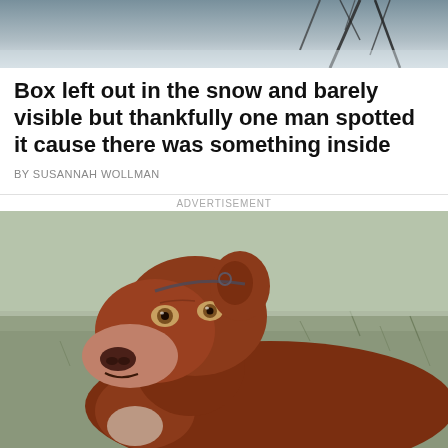[Figure (photo): Top portion of a photo showing dark branches/sticks against a grey-blue background, partially snow-covered scene.]
Box left out in the snow and barely visible but thankfully one man spotted it cause there was something inside
BY SUSANNAH WOLLMAN
ADVERTISEMENT
[Figure (photo): A brown/reddish pit bull dog wearing a chain collar, standing outdoors on dry grass, looking back toward the camera with a solemn expression.]
© Pawpulous   About Ads   Terms   Privacy   Do Not Sell My Info